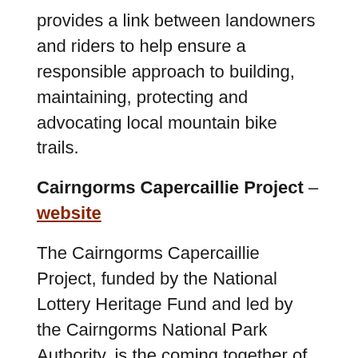provides a link between landowners and riders to help ensure a responsible approach to building, maintaining, protecting and advocating local mountain bike trails.
Cairngorms Capercaillie Project – website
The Cairngorms Capercaillie Project, funded by the National Lottery Heritage Fund and led by the Cairngorms National Park Authority, is the coming together of a wider range of people in the Cairngorms National Park to help secure the long-term survival of capercaillie in the UK. It's possible that there are now less than 1,000 capercaillie left in the UK and almost all of them live in the Cairngorms National Park. Acting in the National